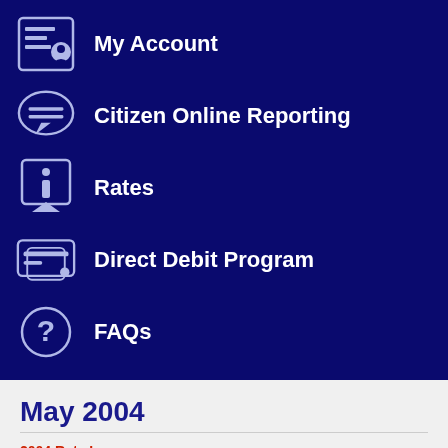My Account
Citizen Online Reporting
Rates
Direct Debit Program
FAQs
May 2004
2004 Rate Increase
There seems to be a lot of confusion over the new rate increase, which went into effect on April 1, 2004. Both Newsday and the Leader had articles on the rate increase which only generated